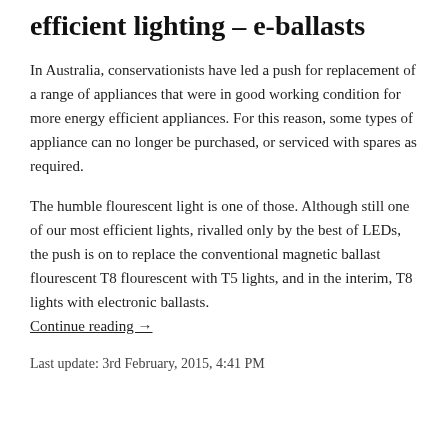efficient lighting – e-ballasts
In Australia, conservationists have led a push for replacement of a range of appliances that were in good working condition for more energy efficient appliances. For this reason, some types of appliance can no longer be purchased, or serviced with spares as required.
The humble flourescent light is one of those. Although still one of our most efficient lights, rivalled only by the best of LEDs, the push is on to replace the conventional magnetic ballast flourescent T8 flourescent with T5 lights, and in the interim, T8 lights with electronic ballasts. Continue reading →
Last update: 3rd February, 2015, 4:41 PM